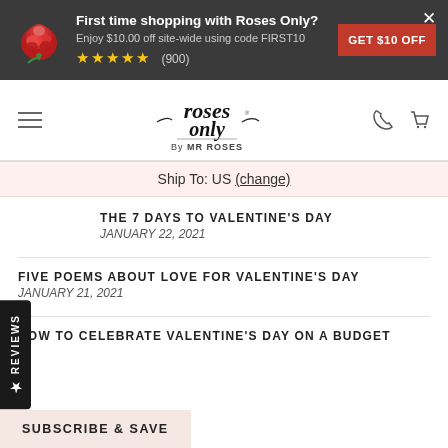[Figure (screenshot): Roses Only website banner with rose logo, first-time discount offer, star rating, and GET $10 OFF button]
First time shopping with Roses Only? Enjoy $10.00 off site-wide using code FIRST10 ★★★★★ (900)
[Figure (logo): Roses Only by MR ROSES logo]
Ship To: US (change)
THE 7 DAYS TO VALENTINE'S DAY
JANUARY 22, 2021
FIVE POEMS ABOUT LOVE FOR VALENTINE'S DAY
JANUARY 21, 2021
HOW TO CELEBRATE VALENTINE'S DAY ON A BUDGET
SUBSCRIBE & SAVE